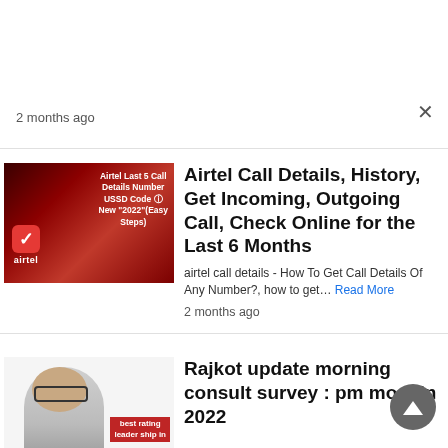2 months ago
[Figure (screenshot): Airtel branded thumbnail image showing 'Airtel Last 5 Call Details Number USSD Code New 2022 (Easy Steps)' on a dark red background with Airtel logo]
Airtel Call Details, History, Get Incoming, Outgoing Call, Check Online for the Last 6 Months
airtel call details - How To Get Call Details Of Any Number?, how to get… Read More
2 months ago
[Figure (photo): Thumbnail showing a person (PM Modi) with text 'best rating leader ship in' on red background]
Rajkot update morning consult survey : pm modi in 2022